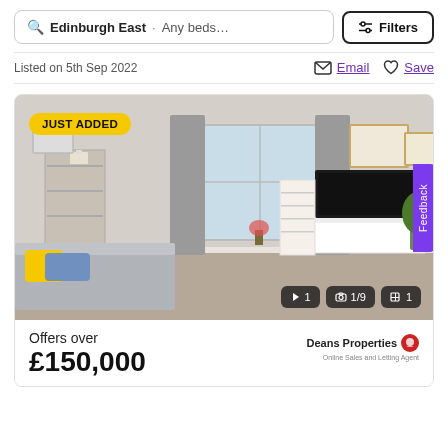Edinburgh East · Any beds... Filters
Listed on 5th Sep 2022   Email   Save
[Figure (photo): Interior photo of a modern living room with grey sofa with yellow and blue cushions, bookshelf, TV on white media unit, plants, framed artwork, and a window with grey curtains. Badge reads 'JUST ADDED'. Media controls show: 1 video, 1/9 photos, 1 floorplan. Feedback tab on right side.]
Offers over
£150,000
Deans Properties